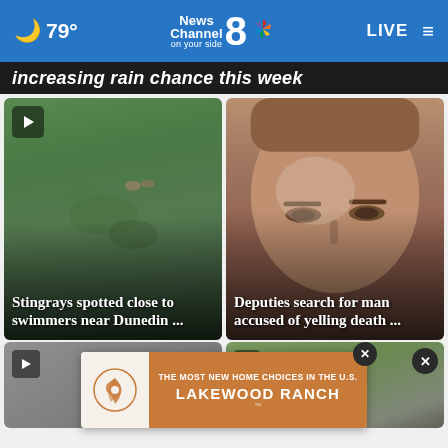79° News Channel 8 on your side NBC LIVE
increasing rain chance this week
[Figure (photo): Aerial view of stingrays in green water near swimmers]
Stingrays spotted close to swimmers near Dunedin ...
[Figure (photo): Close-up face of a man, mugshot style]
Deputies search for man accused of yelling death ...
[Figure (photo): Bottom left card - news thumbnail with play button]
[Figure (photo): Bottom right card - outdoor aerial photo]
THE MOST NEW HOME CHOICES IN THE U.S. LAKEWOOD RANCH